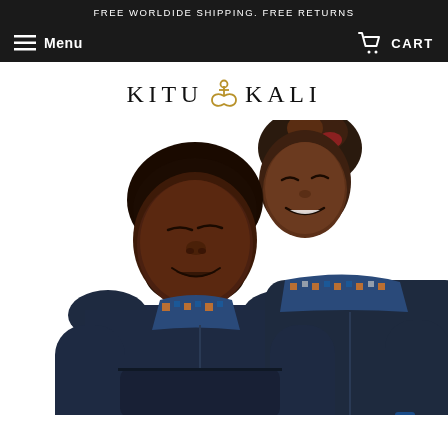FREE WORLDIDE SHIPPING. FREE RETURNS
Menu   CART
[Figure (logo): KITU KALI brand logo with an ankh/infinity symbol between the two words, in black serif lettering]
[Figure (photo): Two people wearing matching navy blue hoodies with African print fabric lining on the hoods, posed together against a white background. The woman rests her head on the man's shoulder, both smiling with eyes closed.]